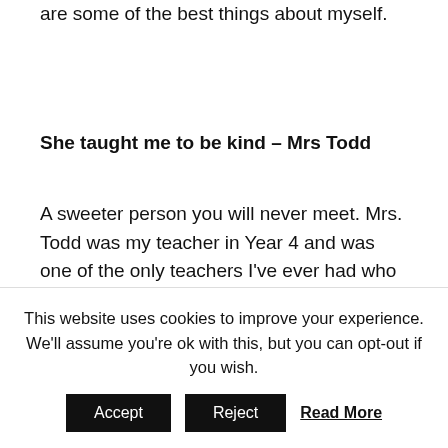are some of the best things about myself.
She taught me to be kind – Mrs Todd
A sweeter person you will never meet. Mrs. Todd was my teacher in Year 4 and was one of the only teachers I've ever had who made me feel as though I was genuinely cared for outside of my home. In many ways, she treated me like a family member; encouraging me to try new things, acting as emotional support and even
This website uses cookies to improve your experience. We'll assume you're ok with this, but you can opt-out if you wish.
Accept
Reject
Read More